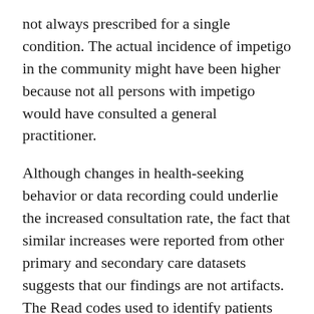not always prescribed for a single condition. The actual incidence of impetigo in the community might have been higher because not all persons with impetigo would have consulted a general practitioner.
Although changes in health-seeking behavior or data recording could underlie the increased consultation rate, the fact that similar increases were reported from other primary and secondary care datasets suggests that our findings are not artifacts. The Read codes used to identify patients were unchanged throughout the study period, and we are unaware of any changes in clinical practice that would lead to an increased tendency to diagnose impetigo.
Impetigo is frequently dismissed as a mild infection that spontaneously resolves with a good outcome (1). By contrast, this study suggests that an undetected increase in impetigo in the community drove a major